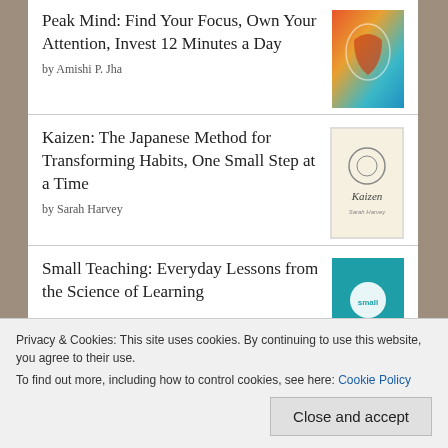Peak Mind: Find Your Focus, Own Your Attention, Invest 12 Minutes a Day by Amishi P. Jha
Kaizen: The Japanese Method for Transforming Habits, One Small Step at a Time by Sarah Harvey
Small Teaching: Everyday Lessons from the Science of Learning
Twenty-first Century
Privacy & Cookies: This site uses cookies. By continuing to use this website, you agree to their use. To find out more, including how to control cookies, see here: Cookie Policy
Close and accept